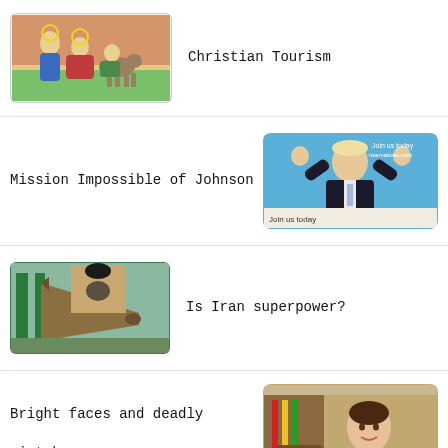[Figure (photo): Religious illustration showing figures with a donkey, resembling a nativity or holy family scene]
Christian Tourism
Mission Impossible of Johnson
[Figure (photo): Boris Johnson with arms raised at a Conservative Party event with 'Join us today conservatives.com' banner]
[Figure (photo): A missile on display with a large portrait of an Iranian cleric in the background]
Is Iran superpower?
Bright faces and deadly mistakes
[Figure (photo): A woman in white jacket seated in what appears to be an official setting]